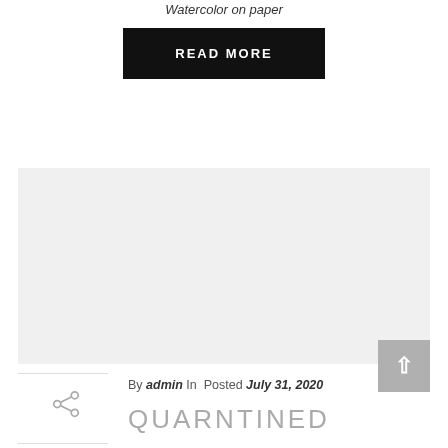Watercolor on paper
READ MORE
[Figure (photo): Light gray rectangular image placeholder area]
By admin In Posted July 31, 2020
QUARNTINED